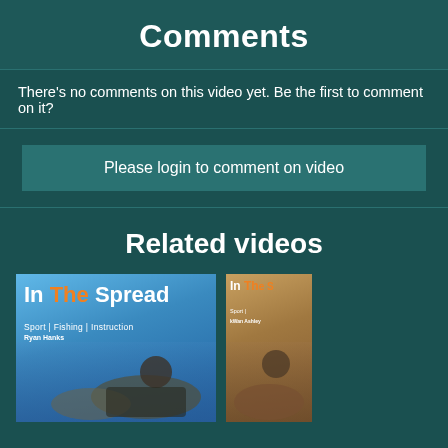Comments
There's no comments on this video yet. Be the first to comment on it?
Please login to comment on video
Related videos
[Figure (photo): Thumbnail for 'In The Spread' fishing video featuring a man holding a large grouper fish with a lure. Text reads: In The Spread, Sport | Fishing | Instruction, Ryan Hanks]
[Figure (photo): Partial thumbnail for another 'In The Spread' fishing video on the right edge, partially cut off]